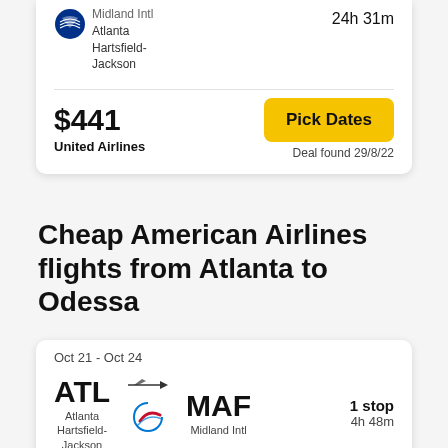Midland Intl → Atlanta Hartsfield-Jackson  24h 31m
$441
United Airlines
Pick Dates
Deal found 29/8/22
Cheap American Airlines flights from Atlanta to Odessa
Oct 21 - Oct 24
ATL → MAF  Atlanta Hartsfield-Jackson  Midland Intl  1 stop  4h 48m